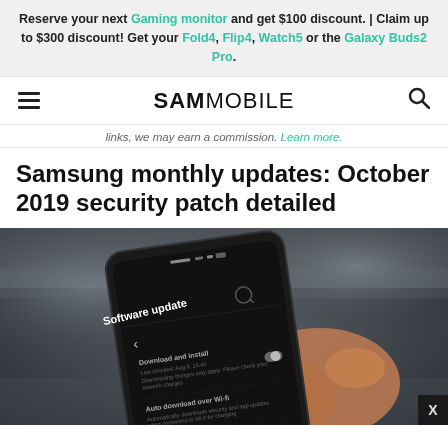Reserve your next Gaming monitor and get $100 discount. | Claim up to $300 discount! Get your Fold4, Flip4, Watch5 or the Galaxy Buds2 Pro.
SAMMOBILE
links, we may earn a commission. Learn more.
Samsung monthly updates: October 2019 security patch detailed
[Figure (photo): A hand holding a Samsung smartphone displaying the 'Software update' screen in a dark setting.]